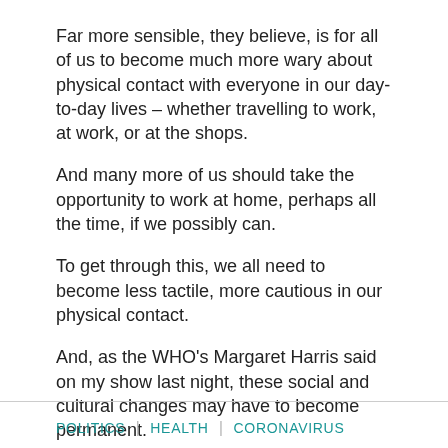Far more sensible, they believe, is for all of us to become much more wary about physical contact with everyone in our day-to-day lives – whether travelling to work, at work, or at the shops.
And many more of us should take the opportunity to work at home, perhaps all the time, if we possibly can.
To get through this, we all need to become less tactile, more cautious in our physical contact.
And, as the WHO's Margaret Harris said on my show last night, these social and cultural changes may have to become permanent.
Listen and subscribe to our weekly politics podcast Calling Peston – available on Apple Podcasts, Spotify or wherever you get your podcasts
POLITICS | HEALTH | CORONAVIRUS